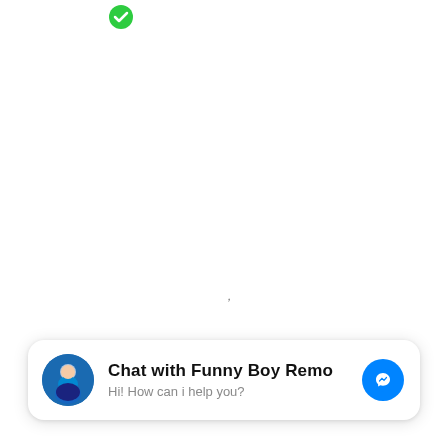[Figure (logo): Green checkmark or dot icon near top left]
,
[Figure (infographic): Facebook Messenger chat widget with avatar of Funny Boy Remo, title 'Chat with Funny Boy Remo', subtitle 'Hi! How can i help you?', and blue Messenger icon button]